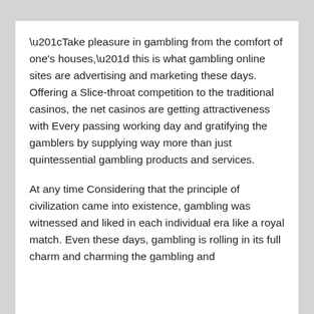“Take pleasure in gambling from the comfort of one’s houses,” this is what gambling online sites are advertising and marketing these days. Offering a Slice-throat competition to the traditional casinos, the net casinos are getting attractiveness with Every passing working day and gratifying the gamblers by supplying way more than just quintessential gambling products and services.
At any time Considering that the principle of civilization came into existence, gambling was witnessed and liked in each individual era like a royal match. Even these days, gambling is rolling in its full charm and charming the gambling and